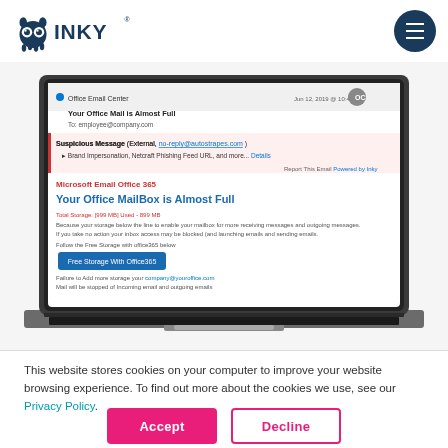INKY
[Figure (screenshot): Laptop computer displaying a phishing email detection screenshot. The email shows 'Microsoft Email Office 365 - Your Office MailBox is Almost Full' with INKY's suspicious message warning banner flagging brand impersonation and a Netcraft phishing feed URL.]
This website stores cookies on your computer to improve your website browsing experience. To find out more about the cookies we use, see our Privacy Policy.
Accept
Decline